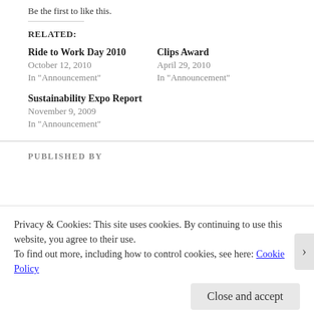Be the first to like this.
RELATED:
Ride to Work Day 2010
October 12, 2010
In "Announcement"
Clips Award
April 29, 2010
In "Announcement"
Sustainability Expo Report
November 9, 2009
In "Announcement"
PUBLISHED BY
Privacy & Cookies: This site uses cookies. By continuing to use this website, you agree to their use.
To find out more, including how to control cookies, see here: Cookie Policy
Close and accept